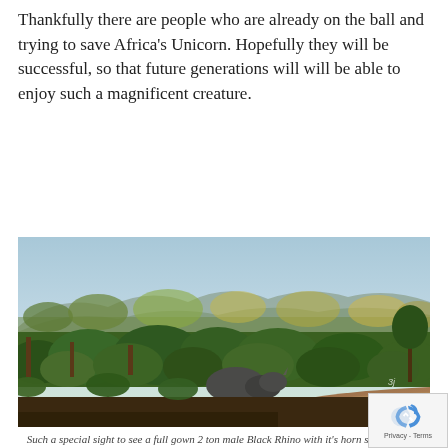Thankfully there are people who are already on the ball and trying to save Africa's Unicorn. Hopefully they will be successful, so that future generations will will be able to enjoy such a magnificent creature.
[Figure (photo): Landscape photo of African savanna with dense green shrubs and trees in the foreground and middle ground, reddish-brown dirt path in the lower right, a rhinoceros partially hidden among the bushes in the center, and mountains with a pale blue sky in the background.]
Such a special sight to see a full gown 2 ton male Black Rhino with it's horn still attached